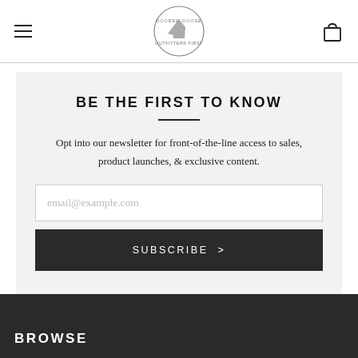Doober Goose (logo)
BE THE FIRST TO KNOW
Opt into our newsletter for front-of-the-line access to sales, product launches, & exclusive content.
email@example.com
SUBSCRIBE >
BROWSE